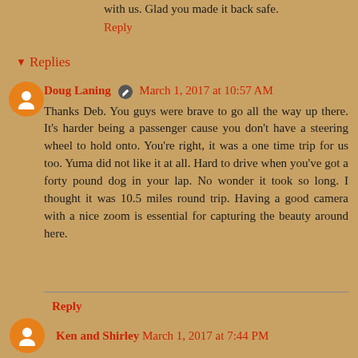with us. Glad you made it back safe.
Reply
Replies
Doug Laning  March 1, 2017 at 10:57 AM
Thanks Deb. You guys were brave to go all the way up there. It's harder being a passenger cause you don't have a steering wheel to hold onto. You're right, it was a one time trip for us too. Yuma did not like it at all. Hard to drive when you've got a forty pound dog in your lap. No wonder it took so long. I thought it was 10.5 miles round trip. Having a good camera with a nice zoom is essential for capturing the beauty around here.
Reply
Ken and Shirley  March 1, 2017 at 7:44 PM